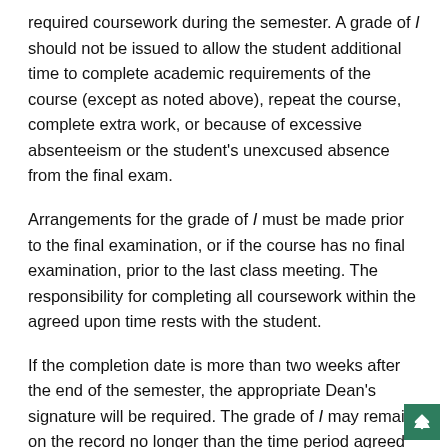required coursework during the semester. A grade of I should not be issued to allow the student additional time to complete academic requirements of the course (except as noted above), repeat the course, complete extra work, or because of excessive absenteeism or the student's unexcused absence from the final exam.
Arrangements for the grade of I must be made prior to the final examination, or if the course has no final examination, prior to the last class meeting. The responsibility for completing all coursework within the agreed upon time rests with the student.
If the completion date is more than two weeks after the end of the semester, the appropriate Dean's signature will be required. The grade of I may remain on the record no longer than the time period agreed to by the instructor, and the student and may not exceed one semester. If the I is not resolved